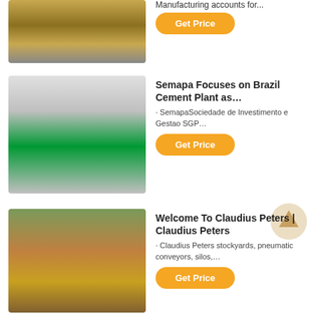[Figure (photo): Industrial machinery with yellow electric motor on wooden pallet]
Manufacturing accounts for...
Get Price
[Figure (photo): Factory floor with cone crushers and industrial equipment, green floor]
Semapa Focuses on Brazil Cement Plant as…
· SemapaSociedade de Investimento e Gestao SGP…
Get Price
[Figure (photo): Quarry or mining site with yellow crusher machine and rocky hillside]
Welcome To Claudius Peters | Claudius Peters
· Claudius Peters stockyards, pneumatic conveyors, silos,…
Get Price